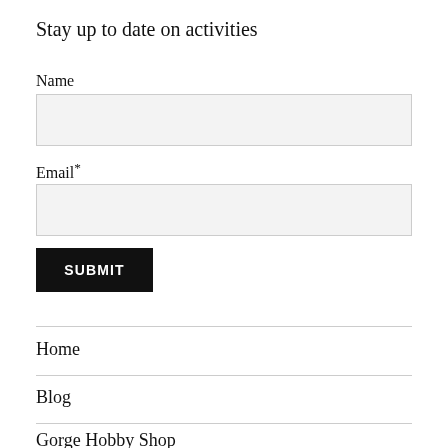Stay up to date on activities
Name
Email*
SUBMIT
Home
Blog
Gorge Hobby Shop